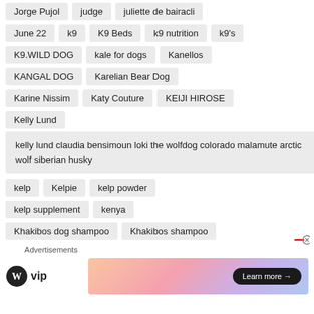Jorge Pujol
judge
juliette de bairacli
June 22
k9
K9 Beds
k9 nutrition
k9's
K9.WILD DOG
kale for dogs
Kanellos
KANGAL DOG
Karelian Bear Dog
Karine Nissim
Katy Couture
KEIJI HIROSE
Kelly Lund
kelly lund claudia bensimoun loki the wolfdog colorado malamute arctic wolf siberian husky
kelp
Kelpie
kelp powder
kelp supplement
kenya
Khakibos dog shampoo
Khakibos shampoo
Advertisements
[Figure (logo): WordPress VIP logo with WP icon and 'vip' text]
[Figure (screenshot): Advertisement banner with gradient background and 'Learn more' button]